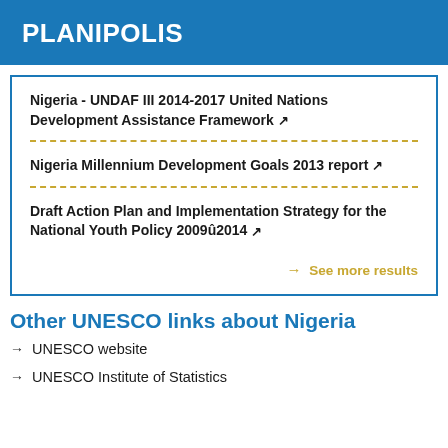PLANIPOLIS
Nigeria - UNDAF III 2014-2017 United Nations Development Assistance Framework
Nigeria Millennium Development Goals 2013 report
Draft Action Plan and Implementation Strategy for the National Youth Policy 2009û2014
→ See more results
Other UNESCO links about Nigeria
→ UNESCO website
→ UNESCO Institute of Statistics